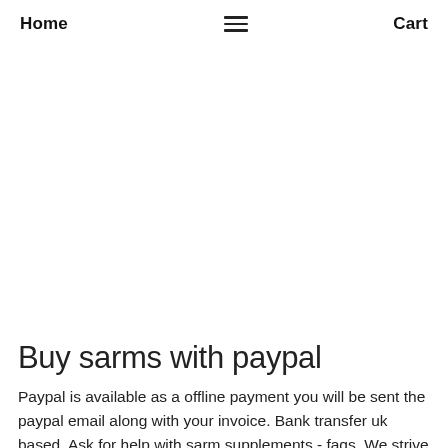Home  ≡  Cart
Buy sarms with paypal
Paypal is available as a offline payment you will be sent the paypal email along with your invoice. Bank transfer uk based. Ask for help with sarm supplements - faqs. We strive to